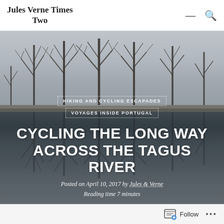Jules Verne Times Two
[Figure (photo): Landscape photo of bare winter trees reflected in a calm river/floodplain, with overcast grey sky. The reflection creates a mirror image in the still water below.]
HIKING AND CYCLING ESCAPADES
VOYAGES INSIDE PORTUGAL
CYCLING THE LONG WAY ACROSS THE TAGUS RIVER
Posted on April 10, 2017 by Jules & Verne
Reading time 7 minutes